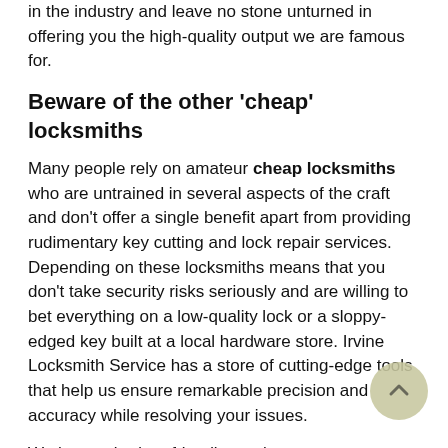in the industry and leave no stone unturned in offering you the high-quality output we are famous for.
Beware of the other 'cheap' locksmiths
Many people rely on amateur cheap locksmiths who are untrained in several aspects of the craft and don't offer a single benefit apart from providing rudimentary key cutting and lock repair services. Depending on these locksmiths means that you don't take security risks seriously and are willing to bet everything on a low-quality lock or a sloppy-edged key built at a local hardware store. Irvine Locksmith Service has a store of cutting-edge tools that help us ensure remarkable precision and accuracy while resolving your issues.
We have a budget-friendly service menu no matter what service you avail, be it a simple lock repair or complex laser key cutting. Are you looking for a cheap locksmith in Irvine, CA area? Avail our affordable services and save a ton of money. Call us now on 949-610-0802!